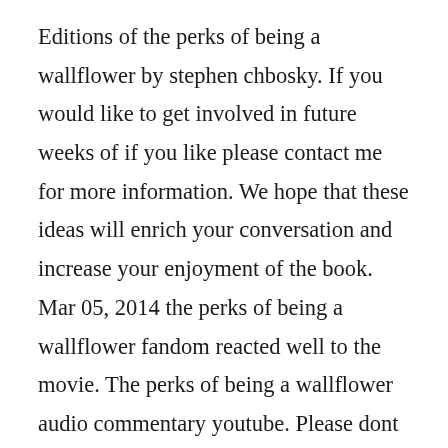Editions of the perks of being a wallflower by stephen chbosky. If you would like to get involved in future weeks of if you like please contact me for more information. We hope that these ideas will enrich your conversation and increase your enjoyment of the book. Mar 05, 2014 the perks of being a wallflower fandom reacted well to the movie. The perks of being a wallflower audio commentary youtube. Please dont judge me when i say that i could totally relate to not only charlie at some times, but also to his sister. Characters, and narrators, like charlie in the perks of